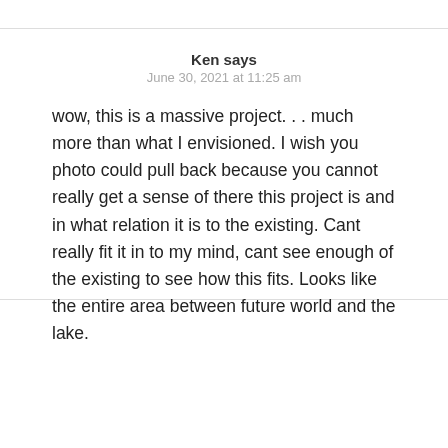Ken says
June 30, 2021 at 11:25 am
wow, this is a massive project… much more than what I envisioned. I wish you photo could pull back because you cannot really get a sense of there this project is and in what relation it is to the existing. Cant really fit it in to my mind, cant see enough of the existing to see how this fits. Looks like the entire area between future world and the lake.
Melanie Durham says
June 30, 2021 at 6:45 pm